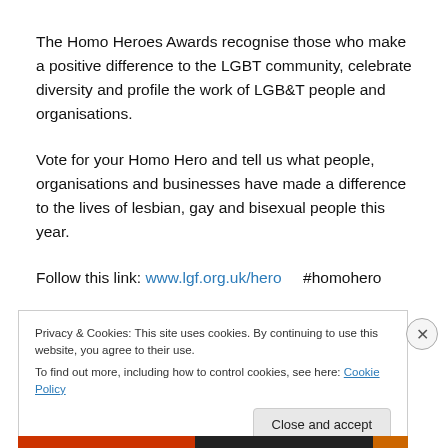The Homo Heroes Awards recognise those who make a positive difference to the LGBT community, celebrate diversity and profile the work of LGB&T people and organisations.
Vote for your Homo Hero and tell us what people, organisations and businesses have made a difference to the lives of lesbian, gay and bisexual people this year.
Follow this link: www.lgf.org.uk/hero    #homohero
Privacy & Cookies: This site uses cookies. By continuing to use this website, you agree to their use.
To find out more, including how to control cookies, see here: Cookie Policy
Close and accept